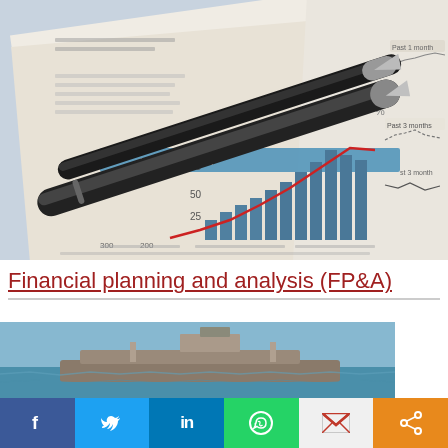[Figure (photo): A photograph of a financial report with bar chart showing exponential growth, a red trend line, and two pens resting on the document. Right side shows line charts with 'Past 3 months' labels.]
Financial planning and analysis (FP&A)
[Figure (photo): Partial photo of a large cargo/container ship at sea under blue sky.]
[Figure (infographic): Social media sharing bar with buttons: Facebook (f), Twitter (bird), LinkedIn (in), WhatsApp (phone), Gmail (M), Share (<)]